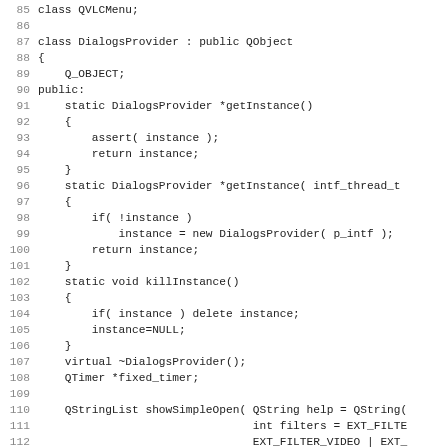Source code listing lines 85-116, showing a C++ class DialogsProvider with methods getInstance, killInstance, and declarations.